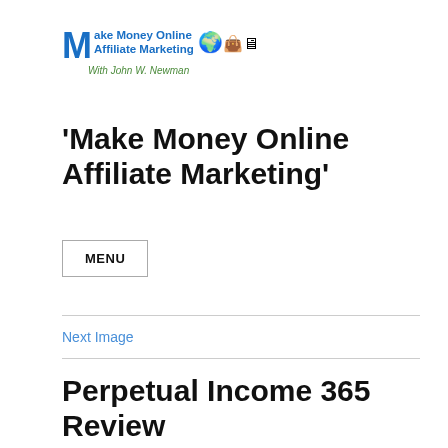[Figure (logo): Make Money Online Affiliate Marketing logo with large M, text lines, globe, bag and computer icons, subtitle 'With John W. Newman' in green italic]
'Make Money Online Affiliate Marketing'
MENU
Next Image
Perpetual Income 365 Review